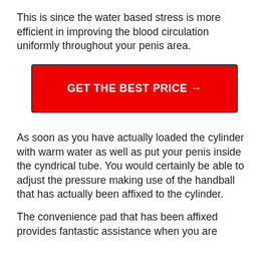This is since the water based stress is more efficient in improving the blood circulation uniformly throughout your penis area.
[Figure (other): Red button with white bold text reading 'GET THE BEST PRICE →']
As soon as you have actually loaded the cylinder with warm water as well as put your penis inside the cyndrical tube. You would certainly be able to adjust the pressure making use of the handball that has actually been affixed to the cylinder.
The convenience pad that has been affixed provides fantastic assistance when you are